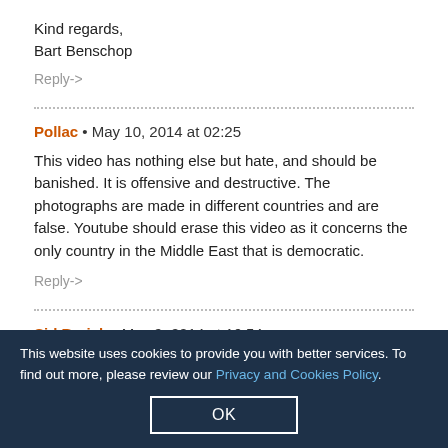Kind regards,
Bart Benschop
Reply->
Pollac • May 10, 2014 at 02:25
This video has nothing else but hate, and should be banished. It is offensive and destructive. The photographs are made in different countries and are false. Youtube should erase this video as it concerns the only country in the Middle East that is democratic.
Reply->
Sid Barish • May 9, 2014 at 16:54
How do you make peace with religious zealots that are out to destroy you? Real peace will only come when the world must stand together to reject terrorists. Only then can we have peace.
Reply->
This website uses cookies to provide you with better services. To find out more, please review our Privacy and Cookies Policy.
OK